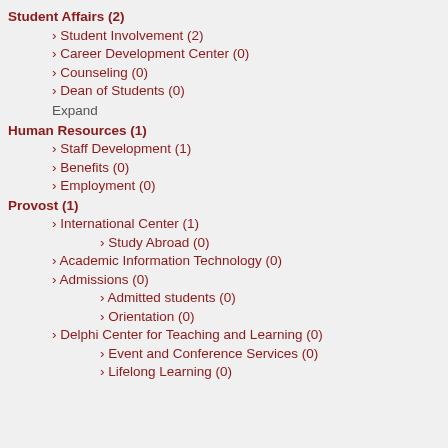Student Affairs (2)
› Student Involvement (2)
› Career Development Center (0)
› Counseling (0)
› Dean of Students (0)
Expand
Human Resources (1)
› Staff Development (1)
› Benefits (0)
› Employment (0)
Provost (1)
› International Center (1)
› Study Abroad (0)
› Academic Information Technology (0)
› Admissions (0)
› Admitted students (0)
› Orientation (0)
› Delphi Center for Teaching and Learning (0)
› Event and Conference Services (0)
› Lifelong Learning (0)